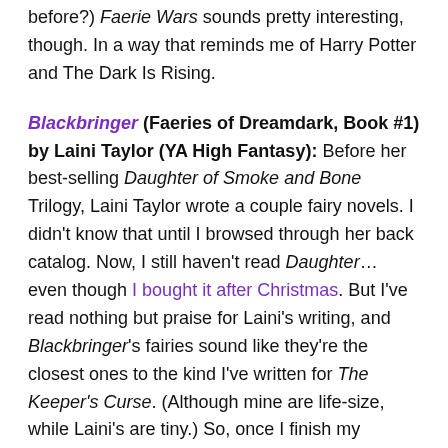before?) Faerie Wars sounds pretty interesting, though. In a way that reminds me of Harry Potter and The Dark Is Rising.
Blackbringer (Faeries of Dreamdark, Book #1) by Laini Taylor (YA High Fantasy): Before her best-selling Daughter of Smoke and Bone Trilogy, Laini Taylor wrote a couple fairy novels. I didn't know that until I browsed through her back catalog. Now, I still haven't read Daughter… even though I bought it after Christmas. But I've read nothing but praise for Laini's writing, and Blackbringer's fairies sound like they're the closest ones to the kind I've written for The Keeper's Curse. (Although mine are life-size, while Laini's are tiny.) So, once I finish my current read, Blackbringer will be my first Laini Taylor novel and the first from this batch of fairy books.